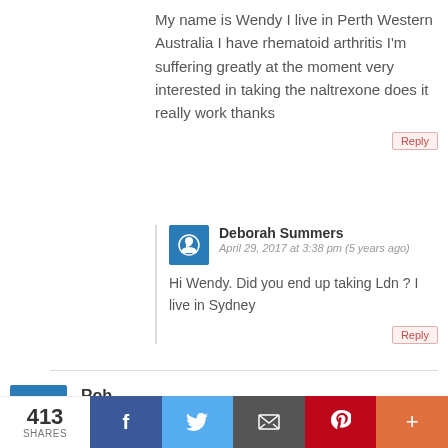My name is Wendy I live in Perth Western Australia I have rhematoid arthritis I'm suffering greatly at the moment very interested in taking the naltrexone does it really work thanks
Reply
Deborah Summers
April 29, 2017 at 3:38 pm (5 years ago)
Hi Wendy. Did you end up taking Ldn ? I live in Sydney
Reply
Rob
June 16, 2014 at 1:53 pm (8 years ago)
413 SHARES